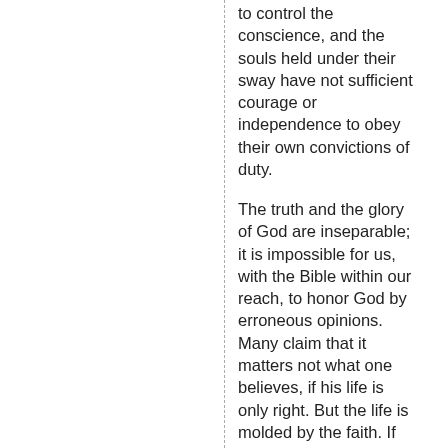to control the conscience, and the souls held under their sway have not sufficient courage or independence to obey their own convictions of duty.
The truth and the glory of God are inseparable; it is impossible for us, with the Bible within our reach, to honor God by erroneous opinions. Many claim that it matters not what one believes, if his life is only right. But the life is molded by the faith. If light and truth is within our